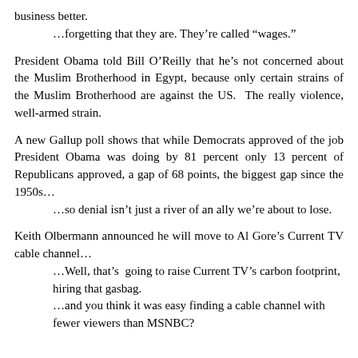business better.
…forgetting that they are.  They’re called “wages.”
President Obama told Bill O’Reilly that he’s not concerned about the Muslim Brotherhood in Egypt, because only certain strains of the Muslim Brotherhood are against the US.  The really violence, well-armed strain.
A new Gallup poll shows that while Democrats approved of the job President Obama was doing by 81 percent only 13 percent of Republicans approved, a gap of 68 points, the biggest gap since the 1950s…
…so denial isn’t just a river of an ally we’re about to lose.
Keith Olbermann announced he will move to Al Gore’s Current TV cable channel…
…Well, that’s  going to raise Current TV’s carbon footprint, hiring that gasbag.
…and you think it was easy finding a cable channel with fewer viewers than MSNBC?